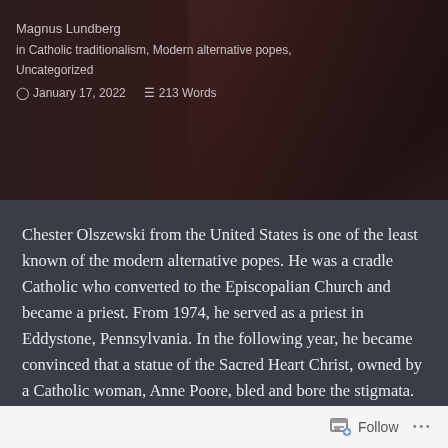[Figure (photo): Background photo of a person, appears to be a religious figure or person in vestments, with dark reddish-brown tones]
Magnus Lundberg
in Catholic traditionalism, Modern alternative popes, Uncategorized
January 17, 2022   213 Words
Chester Olszewski from the United States is one of the least known of the modern alternative popes. He was a cradle Catholic who converted to the Episcopalian Church and became a priest. From 1974, he served as a priest in Eddystone, Pennsylvania. In the following year, he became convinced that a statue of the Sacred Heart Christ, owned by a Catholic woman, Anne Poore, bled and bore the stigmata. Olszewski brought the statue to church, where he made it the central devotion
Follow ...